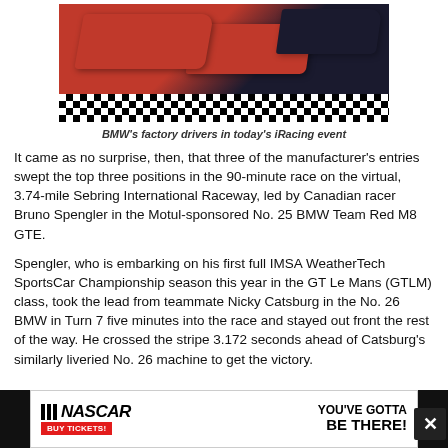[Figure (photo): BMW factory race cars (red and dark liveries) lined up on a checkered flag surface at a virtual iRacing event]
BMW's factory drivers in today's iRacing event
It came as no surprise, then, that three of the manufacturer's entries swept the top three positions in the 90-minute race on the virtual, 3.74-mile Sebring International Raceway, led by Canadian racer Bruno Spengler in the Motul-sponsored No. 25 BMW Team Red M8 GTE.
Spengler, who is embarking on his first full IMSA WeatherTech SportsCar Championship season this year in the GT Le Mans (GTLM) class, took the lead from teammate Nicky Catsburg in the No. 26 BMW in Turn 7 five minutes into the race and stayed out front the rest of the way. He crossed the stripe 3.172 seconds ahead of Catsburg's similarly liveried No. 26 machine to get the victory.
[Figure (photo): NASCAR advertisement banner: NASCAR logo with 'BUY TICKETS!' button and text 'YOU'VE GOTTA BE THERE!']